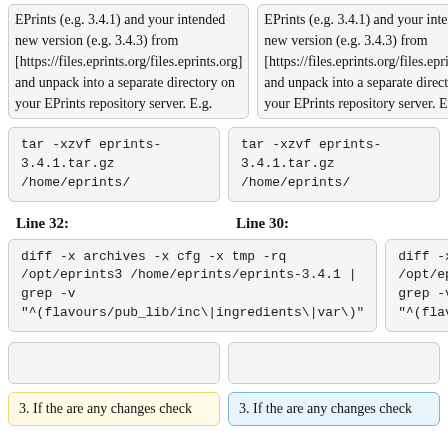EPrints (e.g. 3.4.1) and your intended new version (e.g. 3.4.3) from [https://files.eprints.org/files.eprints.org] and unpack into a separate directory on your EPrints repository server.  E.g.
EPrints (e.g. 3.4.1) and your intended new version (e.g. 3.4.3) from [https://files.eprints.org/files.eprints.org] and unpack into a separate directory on your EPrints repository server.  E.g.
tar -xzvf eprints-3.4.1.tar.gz /home/eprints/
tar -xzvf eprints-3.4.1.tar.gz /home/eprints/
Line 32:
Line 30:
diff -x archives -x cfg -x tmp -rq /opt/eprints3 /home/eprints/eprints-3.4.1 | grep -v "^(flavours/pub_lib/inc\|ingredients\|var\)"
diff -x archives -x cfg -x tmp -rq /opt/eprints3 /home/eprints/eprints-3.4.1 | grep -v "^(flavours/pub_lib/inc\|ingredients\|var\)"
3. If the are any changes check
3. If the are any changes check